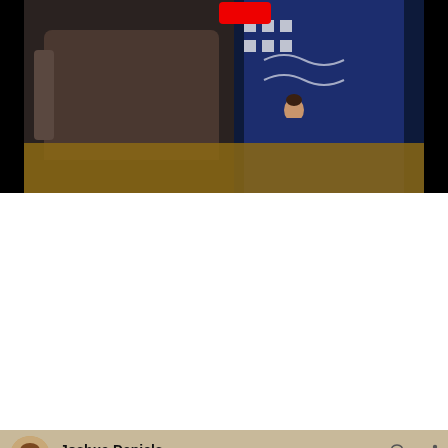[Figure (screenshot): Top screenshot showing a dark room scene with a sofa, a person in a patterned sweater, and a wooden table. A red button/icon is visible at the top center.]
[Figure (screenshot): Snapchat post by Joshua Daniels (48m ago) showing a person asleep near a Christmas tree with a TV in background. Caption overlay reads: 'Look up food coma in the dictionary and you'll see this']